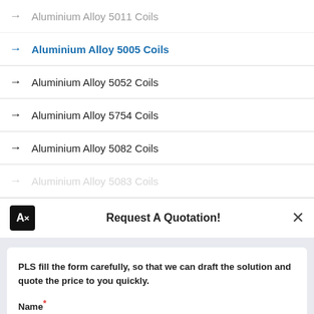→ Aluminium Alloy 5011 Coils
→ Aluminium Alloy 5005 Coils
→ Aluminium Alloy 5052 Coils
→ Aluminium Alloy 5754 Coils
→ Aluminium Alloy 5082 Coils
→ Aluminium Alloy 5083 Coils
Request A Quotation!
PLS fill the form carefully, so that we can draft the solution and quote the price to you quickly.
Name*
E-mail*